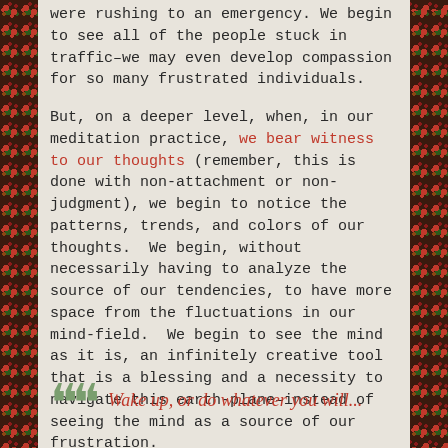were rushing to an emergency. We begin to see all of the people stuck in traffic–we may even develop compassion for so many frustrated individuals.
But, on a deeper level, when, in our meditation practice, we bear witness to our thoughts (remember, this is done with non-attachment or non-judgment), we begin to notice the patterns, trends, and colors of our thoughts.  We begin, without necessarily having to analyze the source of our tendencies, to have more space from the fluctuations in our mind-field.  We begin to see the mind as it is, an infinitely creative tool that is a blessing and a necessity to navigate this earth-plane–instead of seeing the mind as a source of our frustration.
Wake up, or do whatever you will...